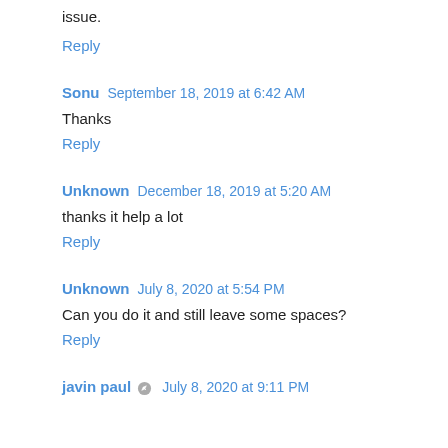issue.
Reply
Sonu  September 18, 2019 at 6:42 AM
Thanks
Reply
Unknown  December 18, 2019 at 5:20 AM
thanks it help a lot
Reply
Unknown  July 8, 2020 at 5:54 PM
Can you do it and still leave some spaces?
Reply
javin paul  July 8, 2020 at 9:11 PM